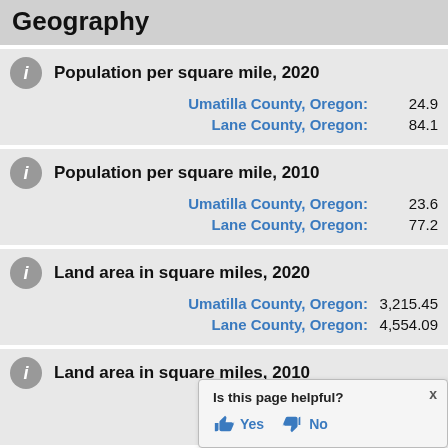Geography
Population per square mile, 2020
Umatilla County, Oregon: 24.9
Lane County, Oregon: 84.1
Population per square mile, 2010
Umatilla County, Oregon: 23.6
Lane County, Oregon: 77.2
Land area in square miles, 2020
Umatilla County, Oregon: 3,215.45
Lane County, Oregon: 4,554.09
Land area in square miles, 2010
Umatilla County, Oregon: [partially visible]
Lane County, Oregon: [partially visible]
Is this page helpful? Yes No